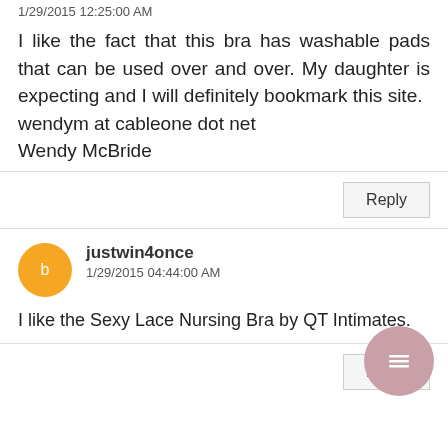1/29/2015 12:25:00 AM
I like the fact that this bra has washable pads that can be used over and over. My daughter is expecting and I will definitely bookmark this site.
wendym at cableone dot net
Wendy McBride
Reply
justwin4once
1/29/2015 04:44:00 AM
I like the Sexy Lace Nursing Bra by QT Intimates.
Reply